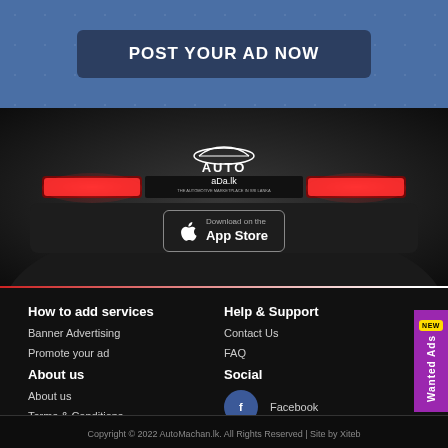[Figure (screenshot): Blue banner background with geometric shapes and a dark blue 'POST YOUR AD NOW' button in center]
[Figure (photo): Dark car rear view with red brake lights, AutoMachan.lk logo overlay and App Store download button]
How to add services
Banner Advertising
Promote your ad
About us
About us
Terms & Conditions
Privacy Policy
Help & Support
Contact Us
FAQ
Social
Facebook
Youtube
Twitter
Copyright © 2022 AutoMachan.lk. All Rights Reserved | Site by Xiteb